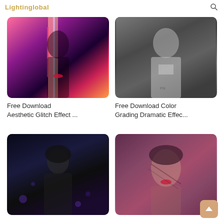Lightinglobal
[Figure (photo): Aesthetic glitch effect photo of a woman with pink/red glitch distortion overlay on dark purple background]
Free Download Aesthetic Glitch Effect ...
[Figure (photo): Black and white portrait photo of Cristiano Ronaldo in Real Madrid white jersey]
Free Download Color Grading Dramatic Effec...
[Figure (photo): Dark photo of a male DJ performing, long hair, dark background with purple bokeh lights]
[Figure (photo): Portrait of a young woman with brown hair, pink/purple textured background, dramatic lighting]